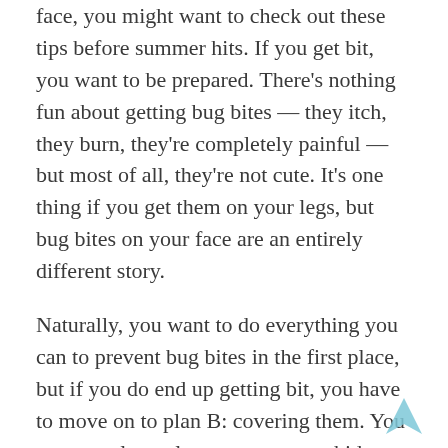face, you might want to check out these tips before summer hits. If you get bit, you want to be prepared. There's nothing fun about getting bug bites — they itch, they burn, they're completely painful — but most of all, they're not cute. It's one thing if you get them on your legs, but bug bites on your face are an entirely different story.
Naturally, you want to do everything you can to prevent bug bites in the first place, but if you do end up getting bit, you have to move on to plan B: covering them. You can wear long-sleeves or pants to hide bites on your arms and body, but when bites pop up on your face? That's pretty frustrating, especially if you're traveling or doing something where pictures are likely to be taken. Ugh.
But don't despair, because as it turns out, it's totally OK to use makeup on bites, you just want to make